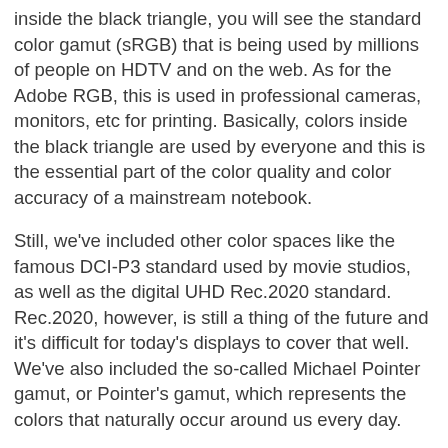inside the black triangle, you will see the standard color gamut (sRGB) that is being used by millions of people on HDTV and on the web. As for the Adobe RGB, this is used in professional cameras, monitors, etc for printing. Basically, colors inside the black triangle are used by everyone and this is the essential part of the color quality and color accuracy of a mainstream notebook.
Still, we've included other color spaces like the famous DCI-P3 standard used by movie studios, as well as the digital UHD Rec.2020 standard. Rec.2020, however, is still a thing of the future and it's difficult for today's displays to cover that well. We've also included the so-called Michael Pointer gamut, or Pointer's gamut, which represents the colors that naturally occur around us every day.
The yellow dotted line shows the color coverage of both the XPS 13 9310 and the XPS 13 9305.
Both laptops show near full sRGB coverage, with 96% for the